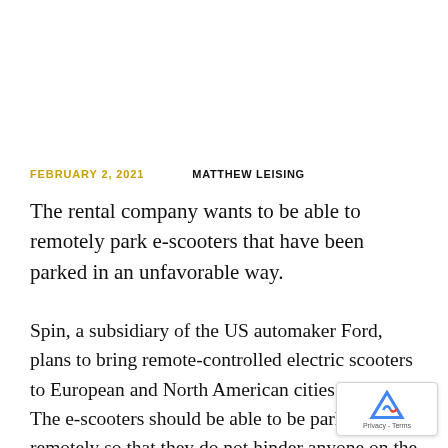FEBRUARY 2, 2021    MATTHEW LEISING
The rental company wants to be able to remotely park e-scooters that have been parked in an unfavorable way.
Spin, a subsidiary of the US automaker Ford, plans to bring remote-controlled electric scooters to European and North American cities this year. The e-scooters should be able to be parked remotely so that they do not hinder anyone on the sidewalk, for example; e-scooter will be converted if it was last parked i